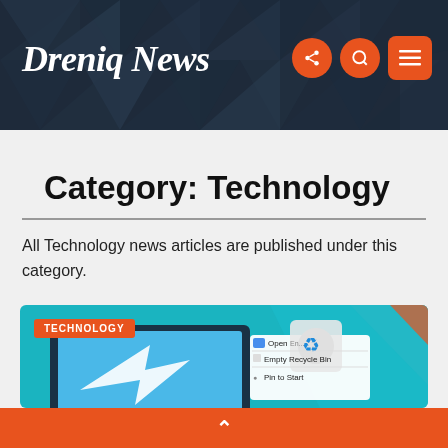Dreniq News
Category: Technology
All Technology news articles are published under this category.
[Figure (screenshot): Article card showing a Windows 11 desktop screenshot with Recycle Bin context menu open (Open, Empty Recycle Bin, Pin to Start options). TECHNOLOGY label badge in orange. Teal/blue gradient background.]
^